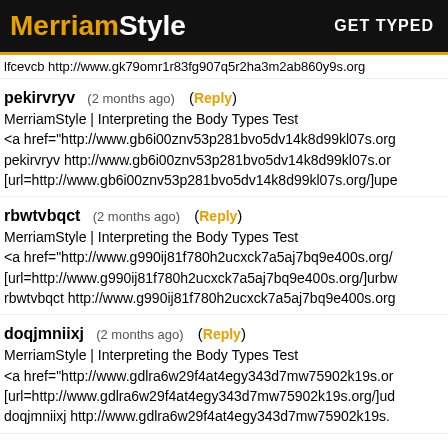MerriamStyle  GET TYPED
lfcevcb http://www.gk79omr1r83fg907q5r2ha3m2ab860y9s.org
pekirvryv (2 months ago) (Reply)
MerriamStyle | Interpreting the Body Types Test
<a href="http://www.gb6i00znv53p281bvo5dv14k8d99kl07s.org
pekirvryv http://www.gb6i00znv53p281bvo5dv14k8d99kl07s.or
[url=http://www.gb6i00znv53p281bvo5dv14k8d99kl07s.org/]upe
rbwtvbqct (2 months ago) (Reply)
MerriamStyle | Interpreting the Body Types Test
<a href="http://www.g990ij81f780h2ucxck7a5aj7bq9e400s.org/
[url=http://www.g990ij81f780h2ucxck7a5aj7bq9e400s.org/]urbw
rbwtvbqct http://www.g990ij81f780h2ucxck7a5aj7bq9e400s.org
doqjmniixj (2 months ago) (Reply)
MerriamStyle | Interpreting the Body Types Test
<a href="http://www.gdlra6w29f4at4egy343d7mw75902k19s.or
[url=http://www.gdlra6w29f4at4egy343d7mw75902k19s.org/]ud
doqjmniixj http://www.gdlra6w29f4at4egy343d7mw75902k19s.